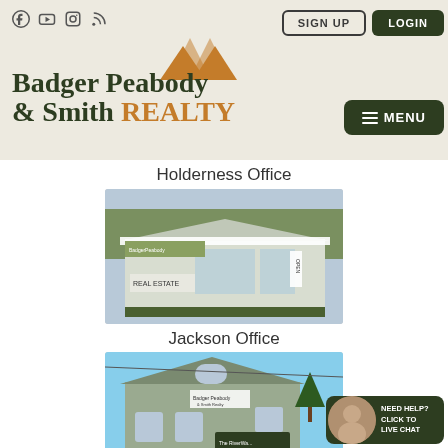[Figure (screenshot): Website header for Badger Peabody & Smith Realty with social media icons, Sign Up and Login buttons, mountain logo, brand name, and menu button]
Badger Peabody & Smith REALTY
Holderness Office
[Figure (photo): Photo of Badger Peabody & Smith Realty Holderness Office storefront in winter with snow, REAL ESTATE sign and OPEN banner]
Jackson Office
[Figure (photo): Photo of Badger Peabody & Smith Realty Jackson Office building exterior in winter, showing The RiverWa... sign]